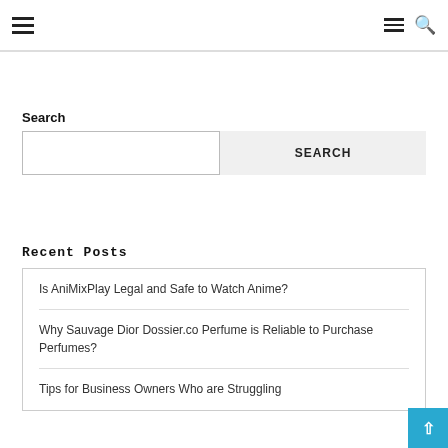Navigation header with hamburger menu and search icon
Search
SEARCH
Recent Posts
Is AniMixPlay Legal and Safe to Watch Anime?
Why Sauvage Dior Dossier.co Perfume is Reliable to Purchase Perfumes?
Tips for Business Owners Who are Struggling